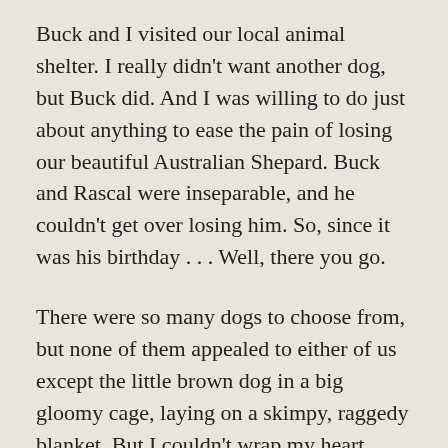Buck and I visited our local animal shelter. I really didn't want another dog, but Buck did. And I was willing to do just about anything to ease the pain of losing our beautiful Australian Shepard. Buck and Rascal were inseparable, and he couldn't get over losing him. So, since it was his birthday . . . Well, there you go.
There were so many dogs to choose from, but none of them appealed to either of us except the little brown dog in a big gloomy cage, laying on a skimpy, raggedy blanket. But I couldn't wrap my heart around the idea of adopting a hound mix. It's true, I didn't want another long-haired dog, but a hound? However, when I discovered she was a